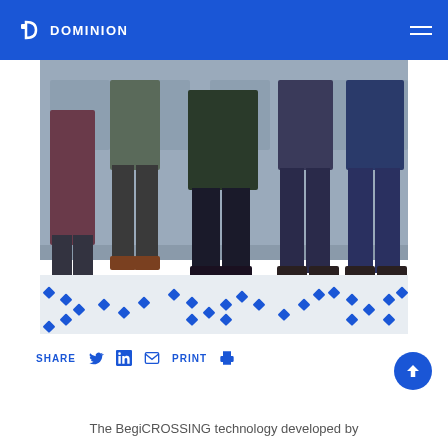DOMINION
[Figure (photo): Group of people standing in front of a branded backdrop, with blue diamond-pattern floor markings visible below them.]
SHARE  PRINT
The BegiCROSSING technology developed by